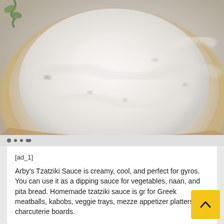[Figure (photo): Close-up overhead photo of tzatziki sauce in a wooden bowl, showing creamy white sauce with herbs and cucumber visible]
[ad_1]
Arby's Tzatziki Sauce is creamy, cool, and perfect for gyros. You can use it as a dipping sauce for vegetables, naan, and pita bread. Homemade tzatziki sauce is gr for Greek meatballs, kabobs, veggie trays, mezze appetizer platters, and charcuterie boards.